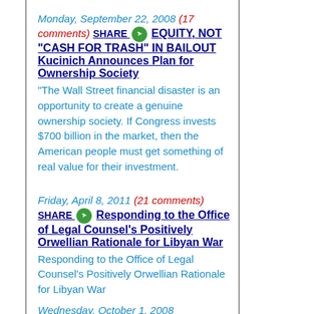Monday, September 22, 2008 (17 comments) SHARE EQUITY, NOT "CASH FOR TRASH" IN BAILOUT Kucinich Announces Plan for Ownership Society "The Wall Street financial disaster is an opportunity to create a genuine ownership society. If Congress invests $700 billion in the market, then the American people must get something of real value for their investment.
Friday, April 8, 2011 (21 comments) SHARE Responding to the Office of Legal Counsel's Positively Orwellian Rationale for Libyan War Responding to the Office of Legal Counsel's Positively Orwellian Rationale for Libyan War
Wednesday, October 1, 2008